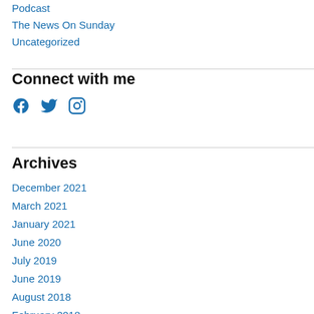Podcast
The News On Sunday
Uncategorized
Connect with me
[Figure (other): Social media icons: Facebook, Twitter, Instagram]
Archives
December 2021
March 2021
January 2021
June 2020
July 2019
June 2019
August 2018
February 2018
January 2018